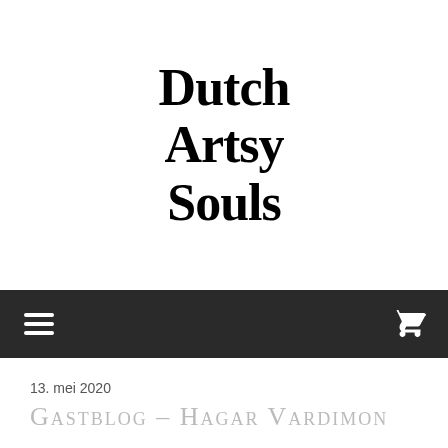Dutch Artsy Souls
[Figure (screenshot): Navigation bar with hamburger menu icon on left and shopping cart icon on right, dark background]
13. mei 2020
Gastblog – Hagar Vardimon